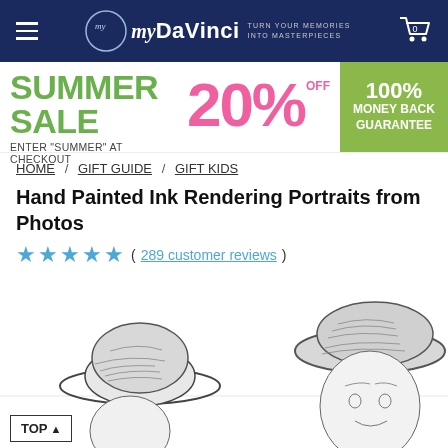myDaVinci — TURN YOUR MEMORIES INTO MASTERPIECES
[Figure (infographic): Summer sale banner: SUMMER SALE 20% OFF, ENTER 'SUMMER' AT CHECKOUT, 100% MONEY BACK GUARANTEE]
HOME / GIFT GUIDE / GIFT KIDS
Hand Painted Ink Rendering Portraits from Photos
★★★★★ ( 289 customer reviews )
[Figure (illustration): Pencil/ink sketch portrait illustration of two people wearing hats, partially visible at bottom of page]